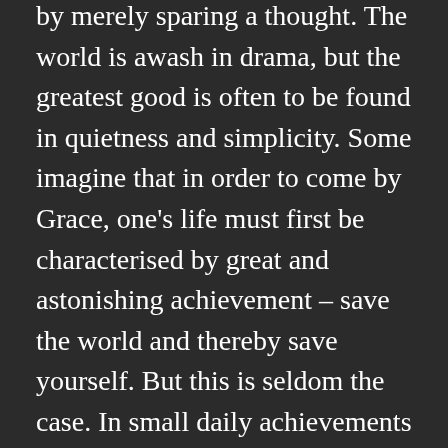by merely sparing a thought. The world is awash in drama, but the greatest good is often to be found in quietness and simplicity. Some imagine that in order to come by Grace, one's life must first be characterised by great and astonishing achievement – save the world and thereby save yourself. But this is seldom the case. In small daily achievements – and many of them – the goal often lies. You cannot move a mountain," he observed, "but you can move a million tiny rocks, one at a time. Therefore do not judge this candle when you see it fails to outshine the Sun. Appreciate its steadfastness, its steadiness, its ceaseless glow, its refusal to even flicker. It is more than enough to see by – and others, perhaps many, will come to find the same."
“How will I know when I finally get Wisdom?” I asked.
He laughed. “It could be said that the process of becoming wise,” he said, pronouncing the word with